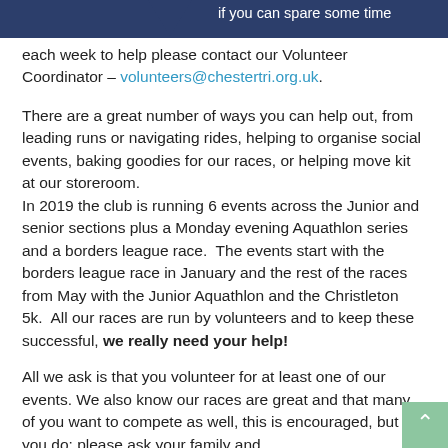if you can spare some time
each week to help please contact our Volunteer Coordinator – volunteers@chestertri.org.uk.
There are a great number of ways you can help out, from leading runs or navigating rides, helping to organise social events, baking goodies for our races, or helping move kit at our storeroom. In 2019 the club is running 6 events across the Junior and senior sections plus a Monday evening Aquathlon series and a borders league race.  The events start with the borders league race in January and the rest of the races from May with the Junior Aquathlon and the Christleton 5k.  All our races are run by volunteers and to keep these successful, we really need your help!
All we ask is that you volunteer for at least one of our events. We also know our races are great and that many of you want to compete as well, this is encouraged, but if you do: please ask your family and